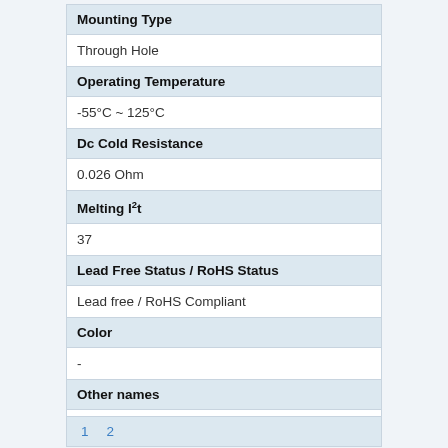| Property | Value |
| --- | --- |
| Mounting Type | Through Hole |
| Operating Temperature | -55°C ~ 125°C |
| Dc Cold Resistance | 0.026 Ohm |
| Melting I²t | 37 |
| Lead Free Status / RoHS Status | Lead free / RoHS Compliant |
| Color | - |
| Other names | AP-ETF-2-5 |
1  2